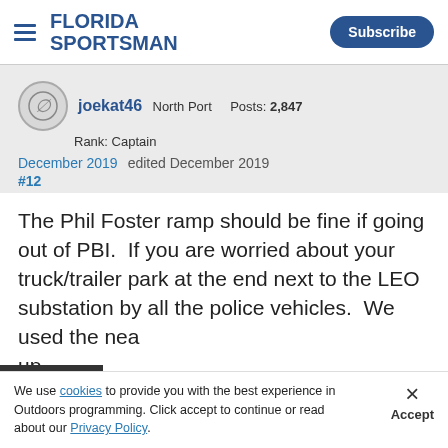FLORIDA SPORTSMAN | Subscribe
joekat46 North Port Posts: 2,847
Rank: Captain
December 2019 edited December 2019
#12
The Phil Foster ramp should be fine if going out of PBI.  If you are worried about your truck/trailer park at the end next to the LEO substation by all the police vehicles.  We used the nea... up...
[Figure (other): Advertisement banner: JET SKI HEROES SAVE FAMILY FROM with a LEARN MORE button and a close/collapse control]
We use cookies to provide you with the best experience in Outdoors programming. Click accept to continue or read about our Privacy Policy.